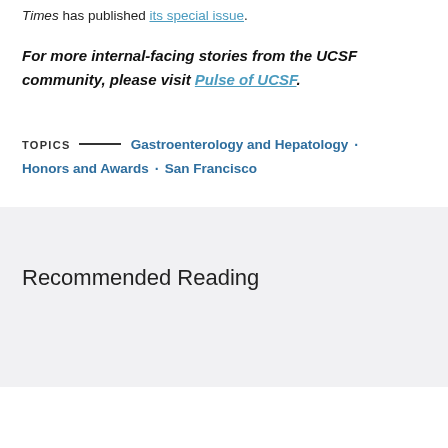Times has published its special issue.
For more internal-facing stories from the UCSF community, please visit Pulse of UCSF.
TOPICS — Gastroenterology and Hepatology · Honors and Awards · San Francisco
Recommended Reading